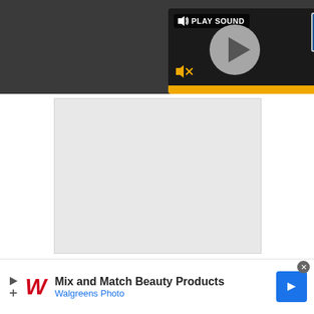[Figure (screenshot): A video player UI on a dark background showing a play button, mute icon, PLAY SOUND label, a logo (LS), and a yellow progress bar at the bottom.]
[Figure (screenshot): A blank light-gray video/image placeholder area.]
To treat his femoral shaft fracture, the man needed
[Figure (screenshot): Walgreens advertisement bar: Mix and Match Beauty Products - Walgreens Photo, with Walgreens W logo and navigation icon.]